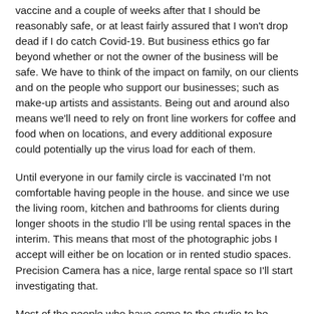vaccine and a couple of weeks after that I should be reasonably safe, or at least fairly assured that I won't drop dead if I do catch Covid-19. But business ethics go far beyond whether or not the owner of the business will be safe. We have to think of the impact on family, on our clients and on the people who support our businesses; such as make-up artists and assistants. Being out and around also means we'll need to rely on front line workers for coffee and food when on locations, and every additional exposure could potentially up the virus load for each of them.
Until everyone in our family circle is vaccinated I'm not comfortable having people in the house. and since we use the living room, kitchen and bathrooms for clients during longer shoots in the studio I'll be using rental spaces in the interim. This means that most of the photographic jobs I accept will either be on location or in rented studio spaces. Precision Camera has a nice, large rental space so I'll start investigating that.
Most of the people who have come to the studio to be photographed recently are sent over from our major medical practice clients. Nearly all of them are doctors or nurses and